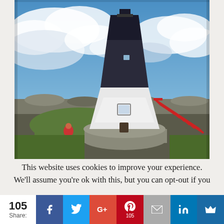[Figure (photo): A black and white lighthouse with a red metal staircase on the right side. The lighthouse stands on a concrete base surrounded by a green lawn and rocky coastal area. A blue sky with white clouds is visible in the background. A person in red sits near the base on the left.]
This website uses cookies to improve your experience. We'll assume you're ok with this, but you can opt-out if you
105 Share:
[Figure (infographic): Social share bar with Facebook, Twitter, Google+, Pinterest (105), Email, LinkedIn, and crown/bookmark buttons]